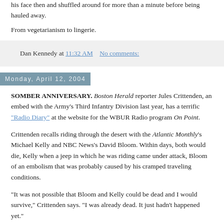his face then and shuffled around for more than a minute before being hauled away.
From vegetarianism to lingerie.
Dan Kennedy at 11:32 AM   No comments:
Monday, April 12, 2004
SOMBER ANNIVERSARY. Boston Herald reporter Jules Crittenden, an embed with the Army's Third Infantry Division last year, has a terrific "Radio Diary" at the website for the WBUR Radio program On Point.
Crittenden recalls riding through the desert with the Atlantic Monthly's Michael Kelly and NBC News's David Bloom. Within days, both would die, Kelly when a jeep in which he was riding came under attack, Bloom of an embolism that was probably caused by his cramped traveling conditions.
"It was not possible that Bloom and Kelly could be dead and I would survive," Crittenden says. "I was already dead. It just hadn't happened yet."
Crittenden also recalls his unit's rolling into Baghdad and coming under fire - a